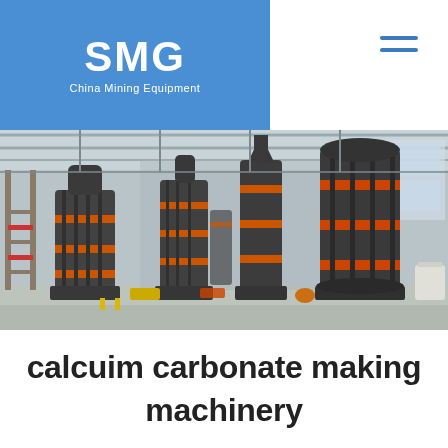[Figure (logo): SMG China Mining Equipment logo on blue background]
[Figure (photo): Large industrial factory floor with multiple dark grey calcium carbonate grinding mill machines arranged in rows inside a spacious warehouse with metal framework structure and large windows]
calcuim carbonate making machinery